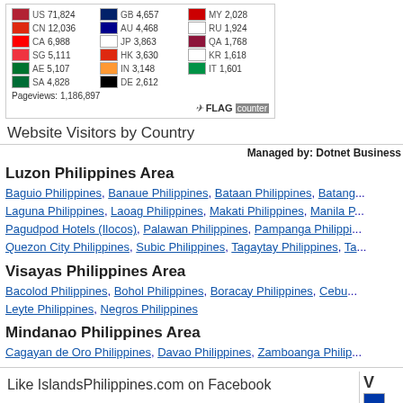[Figure (table-as-image): Flag counter widget showing website visitors by country with flags and numbers. US 71,824; CN 12,036; CA 6,988; SG 5,111; AE 5,107; SA 4,828; GB 4,657; AU 4,468; JP 3,863; HK 3,630; IN 3,148; DE 2,612; MY 2,028; RU 1,924; QA 1,768; KR 1,618; IT 1,601. Pageviews: 1,186,897]
Website Visitors by Country
Managed by: Dotnet Business
Luzon Philippines Area
Baguio Philippines, Banaue Philippines, Bataan Philippines, Batangas, Laguna Philippines, Laoag Philippines, Makati Philippines, Manila P, Pagudpod Hotels (Ilocos), Palawan Philippines, Pampanga Philippi, Quezon City Philippines, Subic Philippines, Tagaytay Philippines, Ta
Visayas Philippines Area
Bacolod Philippines, Bohol Philippines, Boracay Philippines, Cebu, Leyte Philippines, Negros Philippines
Mindanao Philippines Area
Cagayan de Oro Philippines, Davao Philippines, Zamboanga Philip
Like IslandsPhilippines.com on Facebook